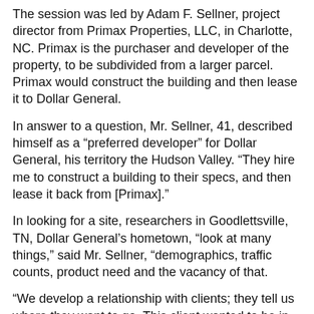The session was led by Adam F. Sellner, project director from Primax Properties, LLC, in Charlotte, NC. Primax is the purchaser and developer of the property, to be subdivided from a larger parcel. Primax would construct the building and then lease it to Dollar General.
In answer to a question, Mr. Sellner, 41, described himself as a “preferred developer” for Dollar General, his territory the Hudson Valley. “They hire me to construct a building to their specs, and then lease it back from [Primax].”
In looking for a site, researchers in Goodlettsville, TN, Dollar General’s hometown, “look at many things,” said Mr. Sellner, “demographics, traffic counts, product need and the vacancy of that.
“We develop a relationship with clients; they tell us where they want to go. This client wanted to be in Germantown,” he said.
Mr. Sellner stressed the “general” in the store’s name more than the dollar. “Not everything costs a dollar. It’s a general store, with a little bit of everything, including food.”
“We have one of those in town,” said a resident, presumably referring to Germantown Variety. “Would there